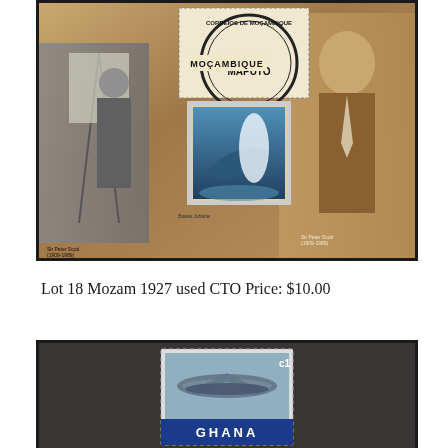[Figure (photo): Mozambique postage stamp souvenir sheet featuring Sir Peter Scott (1909-1989), showing him painting birds at an easel on the left, a framed photo of a breaching whale in the center, and a portrait of Sir Peter Scott holding a bird on the right. A circular CTO (Cancelled To Order) postmark from Maputo, Mozambique is visible.]
Lot 18 Mozam 1927 used CTO Price: $10.00
[Figure (photo): Ghana postage stamp with denomination c1, depicting an aircraft (military plane), on a dark background. The word GHANA appears in bold white letters on a blue band at the bottom of the stamp.]